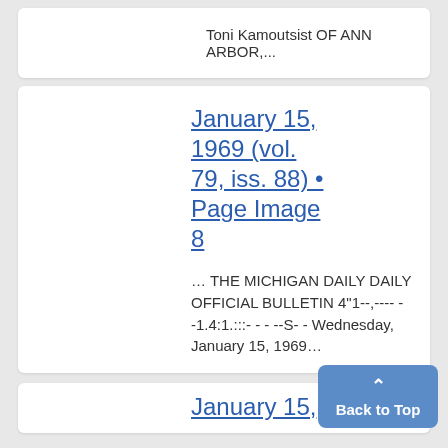Toni Kamoutsist OF ANN ARBOR,...
January 15, 1969 (vol. 79, iss. 88) • Page Image 8
... THE MICHIGAN DAILY DAILY OFFICIAL BULLETIN 4"1--,---- - -1.4:1.:::- - - --S- - Wednesday, January 15, 1969...
January 15,